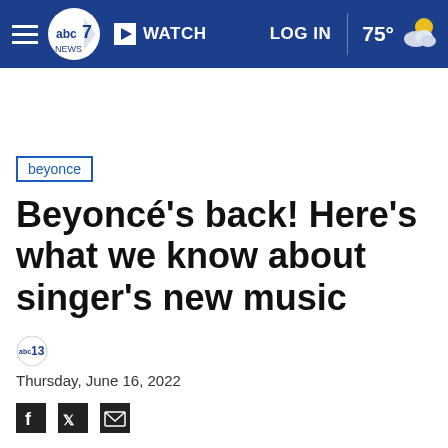ABC7 | WATCH | LOG IN | 75°
beyonce
Beyoncé's back! Here's what we know about singer's new music
Thursday, June 16, 2022